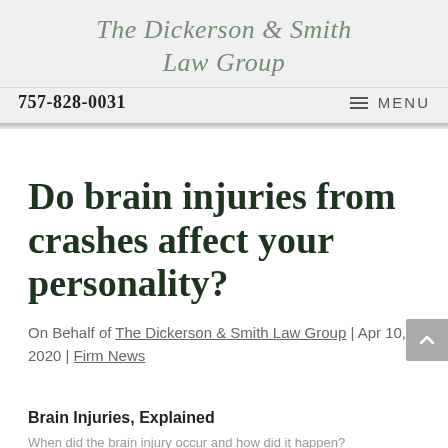The Dickerson & Smith Law Group
757-828-0031  MENU
Do brain injuries from crashes affect your personality?
On Behalf of The Dickerson & Smith Law Group | Apr 10, 2020 | Firm News
Brain Injuries, Explained
When did the brain injury occur and how did it happen?